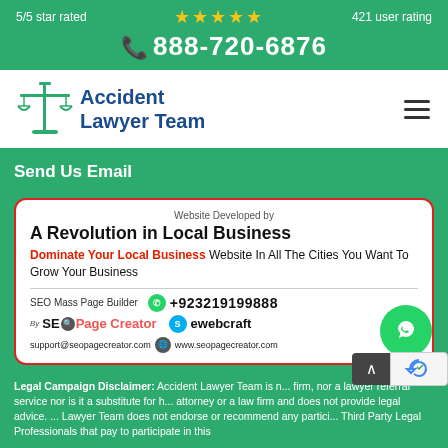5/5 star rated ★★★★★ 421 user rating
📞 888-720-6876
[Figure (logo): Accident Lawyer Team logo with scales of justice icon]
Send Us Email
[Figure (infographic): SEO Page Creator advertisement card: Website Developed by A Revolution in Local Business. Dominate Your Local Business Website In All The Cities You Want To Grow Your Business. SEO Mass Page Builder +923219199888. By SEO Page Creator ewebcraft. support@seopagecreator.com www.seopagecreator.com]
Legal Campaign Disclaimer: Accident Lawyer Team is n... firm, nor a lawyer referral service nor is it a substitute for h... attorney or a law firm and does not provide legal advice. ... Lawyer Team does not endorse or recommend any partici... Third Party Legal Professionals that pay to participate in this